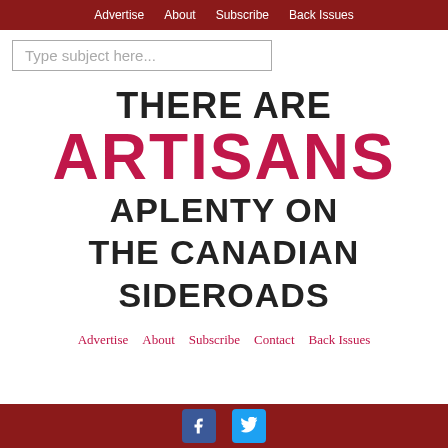Advertise  About  Subscribe  Back Issues
Type subject here...
THERE ARE ARTISANS APLENTY ON THE CANADIAN SIDEROADS
Advertise  About  Subscribe  Contact  Back Issues
Facebook Twitter social icons